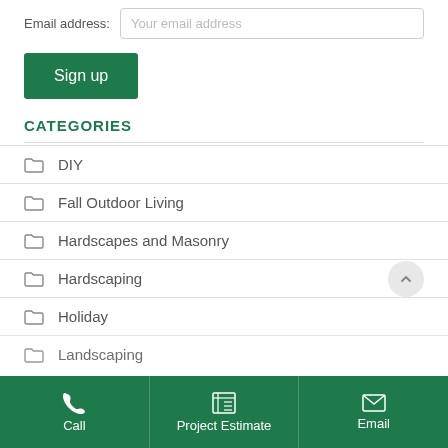Email address: Your email address
Sign up
CATEGORIES
DIY
Fall Outdoor Living
Hardscapes and Masonry
Hardscaping
Holiday
Landscaping
Call | Project Estimate | Email